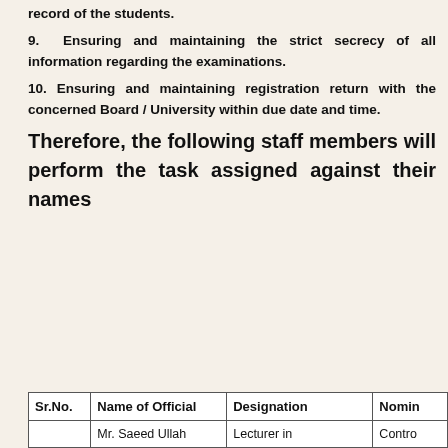record of the students.
9. Ensuring and maintaining the strict secrecy of all information regarding the examinations.
10. Ensuring and maintaining registration return with the concerned Board / University within due date and time.
Therefore, the following staff members will perform the task assigned against their names
| Sr.No. | Name of Official | Designation | Nomin... |
| --- | --- | --- | --- |
|  | Mr. Saeed Ullah | Lecturer in | Contro... |